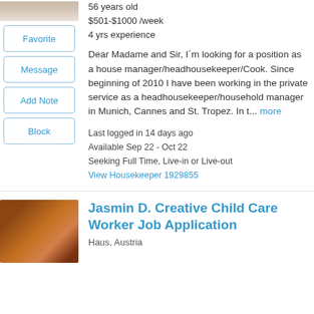56 years old
$501-$1000 /week
4 yrs experience
Favorite
Message
Add Note
Block
Dear Madame and Sir, I´m looking for a position as a house manager/headhousekeeper/Cook. Since beginning of 2010 I have been working in the private service as a headhousekeeper/household manager in Munich, Cannes and St. Tropez. In t... more
Last logged in 14 days ago
Available Sep 22 - Oct 22
Seeking Full Time, Live-in or Live-out
View Housekeeper 1929855
Jasmin D. Creative Child Care Worker Job Application
Haus, Austria